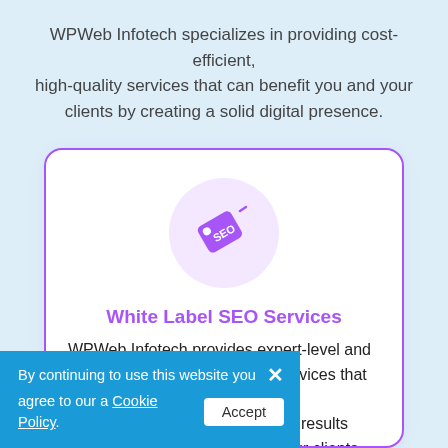WPWeb Infotech specializes in providing cost-efficient, high-quality services that can benefit you and your clients by creating a solid digital presence.
[Figure (illustration): SEO price tag icon inside a light purple circle]
White Label SEO Services
WPWeb Infotech provides expert-level and professional white label SEO services that will ... surable results ... Your clients will ... half when you
By continuing to use this website you agree to our a Cookie Policy. Accept